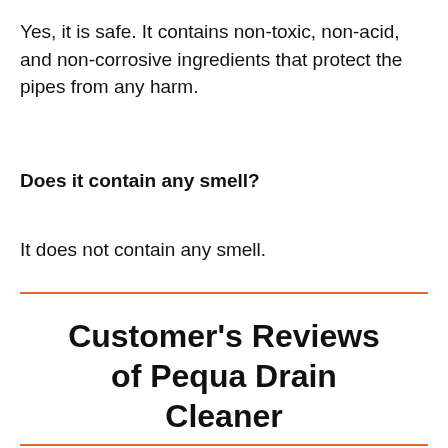Yes, it is safe. It contains non-toxic, non-acid, and non-corrosive ingredients that protect the pipes from any harm.
Does it contain any smell?
It does not contain any smell.
Customer's Reviews of Pequa Drain Cleaner